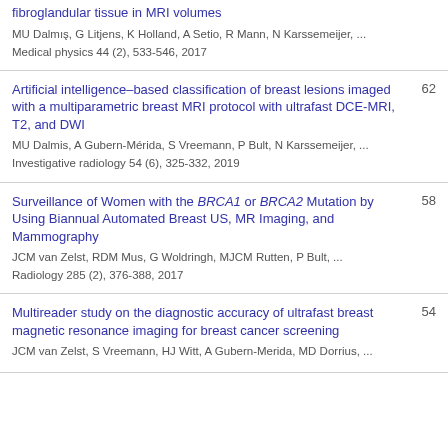fibroglandular tissue in MRI volumes
MU Dalmış, G Litjens, K Holland, A Setio, R Mann, N Karssemeijer, ...
Medical physics 44 (2), 533-546, 2017
Artificial intelligence–based classification of breast lesions imaged with a multiparametric breast MRI protocol with ultrafast DCE-MRI, T2, and DWI
MU Dalmis, A Gubern-Mérida, S Vreemann, P Bult, N Karssemeijer, ...
Investigative radiology 54 (6), 325-332, 2019
62
Surveillance of Women with the BRCA1 or BRCA2 Mutation by Using Biannual Automated Breast US, MR Imaging, and Mammography
JCM van Zelst, RDM Mus, G Woldringh, MJCM Rutten, P Bult, ...
Radiology 285 (2), 376-388, 2017
58
Multireader study on the diagnostic accuracy of ultrafast breast magnetic resonance imaging for breast cancer screening
JCM van Zelst, S Vreemann, HJ Witt, A Gubern-Merida, MD Dorrius, ...
54